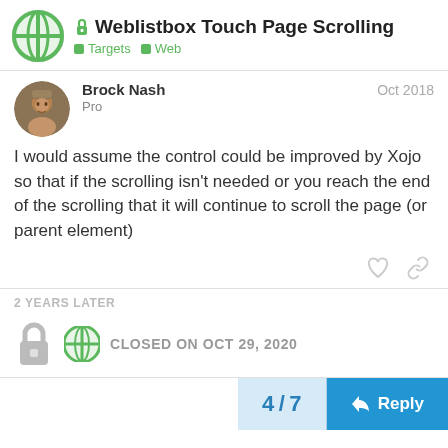Weblistbox Touch Page Scrolling — Targets, Web
Brock Nash  Pro  Oct 2018
I would assume the control could be improved by Xojo so that if the scrolling isn't needed or you reach the end of the scrolling that it will continue to scroll the page (or parent element)
2 YEARS LATER
CLOSED ON OCT 29, 2020
4 / 7
Reply